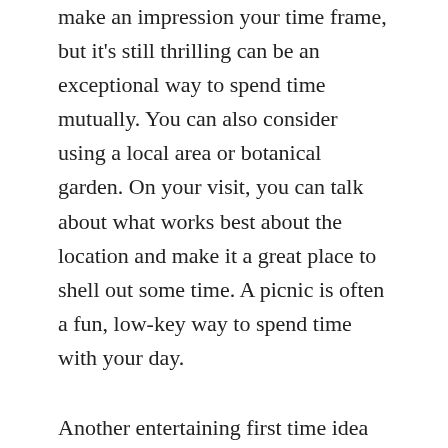make an impression your time frame, but it's still thrilling can be an exceptional way to spend time mutually. You can also consider using a local area or botanical garden. On your visit, you can talk about what works best about the location and make it a great place to shell out some time. A picnic is often a fun, low-key way to spend time with your day.
Another entertaining first time idea would a art gallery together. Museums usually have affordable admission and is great for speaking. If your time frame can be described as history fan, visit a traditional site or landmark. You may also do a fun activity at the same time, such as ice skating dresses for sale! The activity is certainly both thrilling conversational. With respect to something a lot more unusual, consider using a movie evening. Generally, a mild